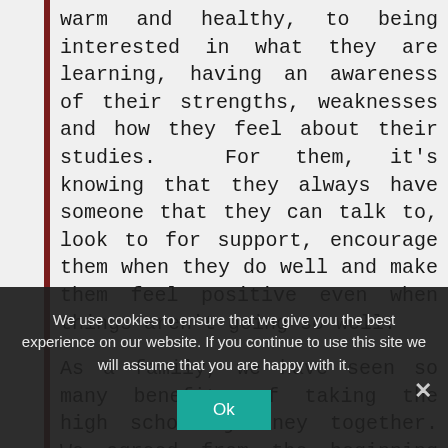warm and healthy, to being interested in what they are learning, having an awareness of their strengths, weaknesses and how they feel about their studies.  For them, it's knowing that they always have someone that they can talk to, look to for support, encourage them when they do well and make them feel positive even when things aren't going so well.
As a family, we have seen so many benefits of taking the high school journey together. We agreed from the beginning that we would give our son all the support that we could. As time passed, of course, our interest was not always welcomed or appreciated, yet despite this we
We use cookies to ensure that we give you the best experience on our website. If you continue to use this site we will assume that you are happy with it.